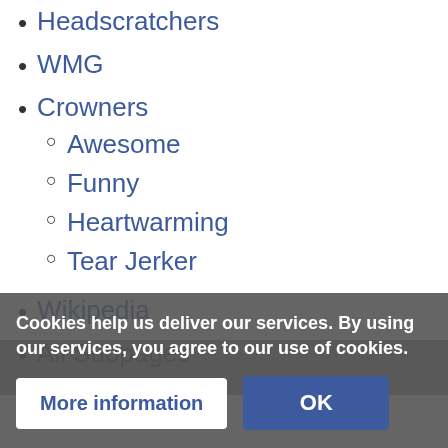Headscratchers
WMG
Crowners
Awesome
Funny
Heartwarming
Tear Jerker
Wikipedia
All Subpages
Create New
Cookies help us deliver our services. By using our services, you agree to our use of cookies.